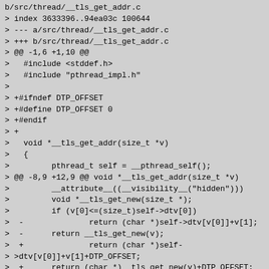b/src/thread/__tls_get_addr.c
> index 3633396..94ea03c 100644
> --- a/src/thread/__tls_get_addr.c
> +++ b/src/thread/__tls_get_addr.c
> @@ -1,6 +1,10 @@
>   #include <stddef.h>
>   #include "pthread_impl.h"
> 
> +#ifndef DTP_OFFSET
> +#define DTP_OFFSET 0
> +#endif
> +
>   void *__tls_get_addr(size_t *v)
>   {
>         pthread_t self = __pthread_self();
> @@ -8,9 +12,9 @@ void *__tls_get_addr(size_t *v)
>         __attribute__((__visibility__("hidden")))
>         void *__tls_get_new(size_t *);
>         if (v[0]<=(size_t)self->dtv[0])
>  -              return (char *)self->dtv[v[0]]+v[1];
>  -      return __tls_get_new(v);
>  +              return (char *)self-
> >dtv[v[0]]+v[1]+DTP_OFFSET;
>  +      return (char *)__tls_get_new(v)+DTP_OFFSET;
>   #else
>  -      return (char *)self->dtv[1]+v[1];
>  +      return (char *)self->dtv[1]+v[1]+DTP_OFFSET;
>   #endif
>   }